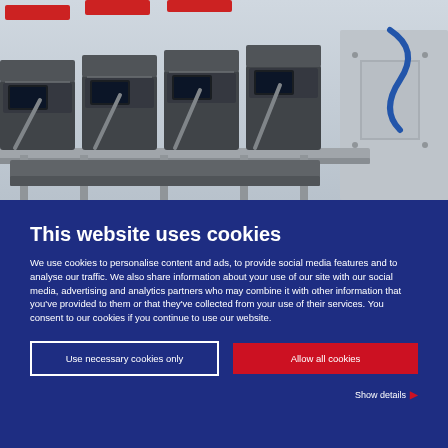[Figure (photo): Industrial weighing/sorting machine with multiple conveyor units and black hoppers on a stainless steel frame, photographed from a low angle.]
This website uses cookies
We use cookies to personalise content and ads, to provide social media features and to analyse our traffic. We also share information about your use of our site with our social media, advertising and analytics partners who may combine it with other information that you've provided to them or that they've collected from your use of their services. You consent to our cookies if you continue to use our website.
Use necessary cookies only
Allow all cookies
Show details ▶